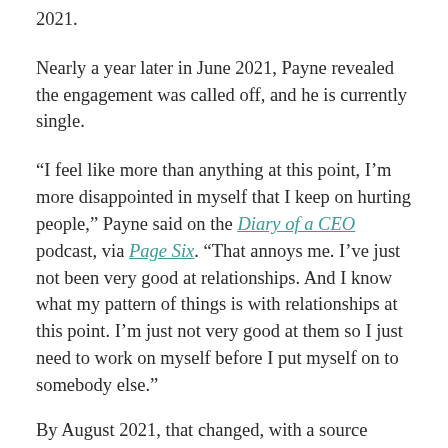2021.
Nearly a year later in June 2021, Payne revealed the engagement was called off, and he is currently single.
“I feel like more than anything at this point, I’m more disappointed in myself that I keep on hurting people,” Payne said on the Diary of a CEO podcast, via Page Six. “That annoys me. I’ve just not been very good at relationships. And I know what my pattern of things is with relationships at this point. I’m just not very good at them so I just need to work on myself before I put myself on to somebody else.”
By August 2021, that changed, with a source telling E! that Payne and Henry reconciled in mid-July.
Along the way things ended up...Payne and Henry...